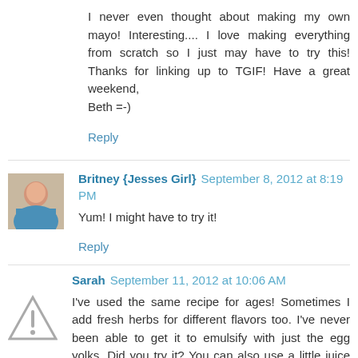I never even thought about making my own mayo! Interesting.... I love making everything from scratch so I just may have to try this! Thanks for linking up to TGIF! Have a great weekend,
Beth =-)
Reply
Britney {Jesses Girl}  September 8, 2012 at 8:19 PM
Yum! I might have to try it!
Reply
Sarah  September 11, 2012 at 10:06 AM
I've used the same recipe for ages! Sometimes I add fresh herbs for different flavors too. I've never been able to get it to emulsify with just the egg yolks. Did you try it? You can also use a little juice from a vegetable ferment (such as sauerkraut) if you can't have whey like me. I've also made it with avocado oil for a light tasting mayo that doesn't get too hard in the fridge.